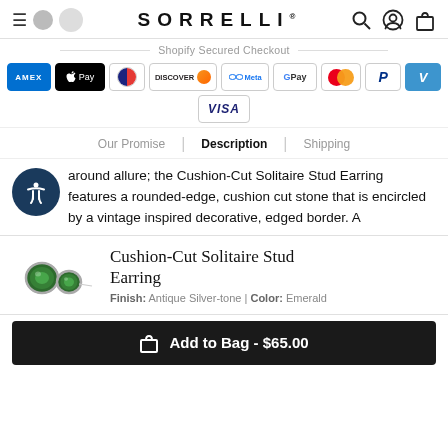SORRELLI
Shopify Secured Checkout
[Figure (other): Payment method icons: American Express, Apple Pay, Diners Club, Discover, Meta Pay, Google Pay, Mastercard, PayPal, Venmo, Visa]
Our Promise | Description | Shipping
around allure; the Cushion-Cut Solitaire Stud Earring features a rounded-edge, cushion cut stone that is encircled by a vintage inspired decorative, edged border. A
[Figure (photo): Cushion-Cut Solitaire Stud Earring with emerald stone and antique silver-tone finish]
Cushion-Cut Solitaire Stud Earring
Finish: Antique Silver-tone | Color: Emerald
Add to Bag - $65.00